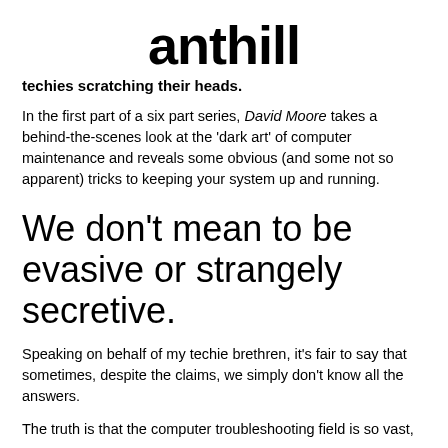anthill
techies scratching their heads.
In the first part of a six part series, David Moore takes a behind-the-scenes look at the 'dark art' of computer maintenance and reveals some obvious (and some not so apparent) tricks to keeping your system up and running.
We don't mean to be evasive or strangely secretive.
Speaking on behalf of my techie brethren, it's fair to say that sometimes, despite the claims, we simply don't know all the answers.
The truth is that the computer troubleshooting field is so vast,